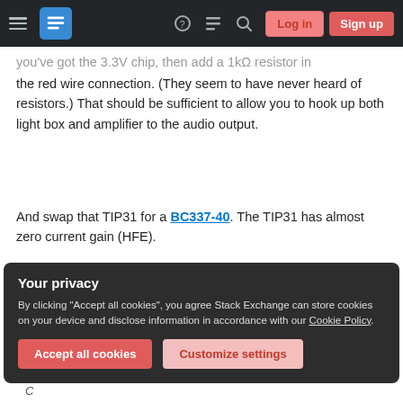Stack Exchange navigation bar with Log in and Sign up buttons
you've got the 3.3V chip, then add a 1kΩ resistor in the red wire connection. (They seem to have never heard of resistors.) That should be sufficient to allow you to hook up both light box and amplifier to the audio output.
And swap that TIP31 for a BC337-40. The TIP31 has almost zero current gain (HFE).
[Figure (photo): Photo of a TO-92 (Plastic) transistor package, dark cylindrical component]
Your privacy
By clicking "Accept all cookies", you agree Stack Exchange can store cookies on your device and disclose information in accordance with our Cookie Policy.